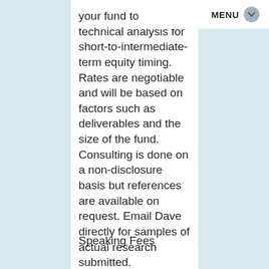MENU
your fund to provide technical analysis for short-to-intermediate-term equity timing. Rates are negotiable and will be based on factors such as deliverables and the size of the fund. Consulting is done on a non-disclosure basis but references are available on request. Email Dave directly for samples of actual research submitted.
Speaking Fees